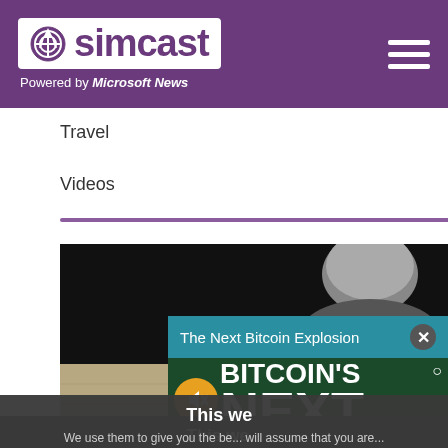simcast — Powered by Microsoft News
Travel
Videos
[Figure (screenshot): Main article image showing a dark background with a person's silhouette/head visible]
[Figure (screenshot): Ad popup overlay titled 'The Next Bitcoin Explosion' showing BITCOIN'S NEXT BIG EXPLOSION text on dark green background with mute button]
[Figure (screenshot): Cookie consent banner partially visible at bottom reading 'This we...' with text 'We use them to give you the be... will assume that you are...' and a 'Co' button]
[Figure (photo): Bottom image showing a person in light-colored jacket against a textured sandy/stone background]